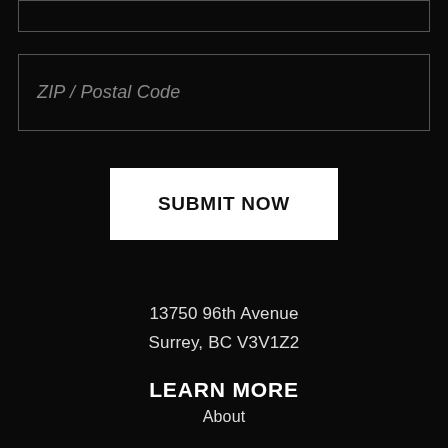ZIP / Postal Code
SUBMIT NOW
13750 96th Avenue
Surrey, BC V3V1Z2
LEARN MORE
About